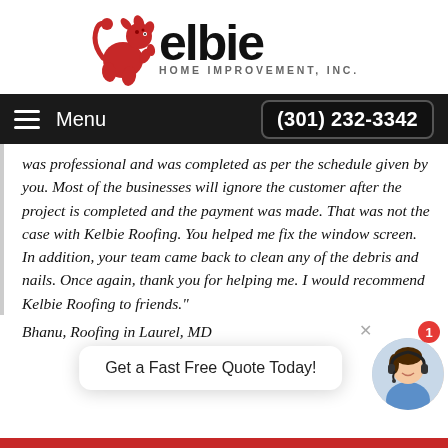[Figure (logo): Kelbie Home Improvement Inc. logo with red rampant lion and company name]
Menu   (301) 232-3342
was professional and was completed as per the schedule given by you. Most of the businesses will ignore the customer after the project is completed and the payment was made. That was not the case with Kelbie Roofing. You helped me fix the window screen. In addition, your team came back to clean any of the debris and nails. Once again, thank you for helping me. I would recommend Kelbie Roofing to friends."
Bhanu, Roofing in Laurel, MD
Get a Fast Free Quote Today!